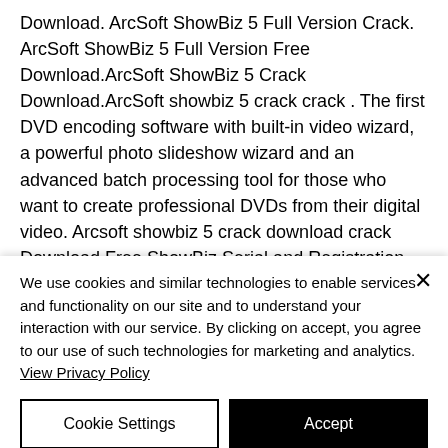Download. ArcSoft ShowBiz 5 Full Version Crack. ArcSoft ShowBiz 5 Full Version Free Download.ArcSoft ShowBiz 5 Crack Download.ArcSoft showbiz 5 crack crack . The first DVD encoding software with built-in video wizard, a powerful photo slideshow wizard and an advanced batch processing tool for those who want to create professional DVDs from their digital video. Arcsoft showbiz 5 crack download crack Download Free ShowBiz Serial and Registration Code For
We use cookies and similar technologies to enable services and functionality on our site and to understand your interaction with our service. By clicking on accept, you agree to our use of such technologies for marketing and analytics. View Privacy Policy
Cookie Settings
Accept